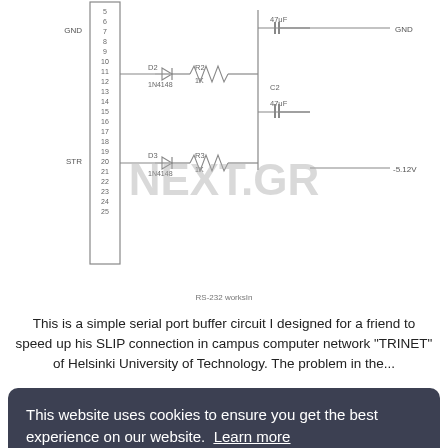[Figure (circuit-diagram): Partial schematic of a serial port buffer circuit showing a DB25 connector with pins numbered 1-25 on the left side. Components include diodes D2 (1N4148), D3 (1N4148), resistors R2 (1K), R3 (1K), capacitors C1 (47uF), C2 (47uF), with power rails labeled GND and -5.12V. Labels STR and GND appear on the left. A watermark NEXT.GR appears across the schematic.]
This is a simple serial port buffer circuit I designed for a friend to speed up his SLIP connection in campus computer network "TRINET" of Helsinki University of Technology. The problem in the...
This website uses cookies to ensure you get the best experience on our website. Learn more
Got it!
RS-232 worksIn